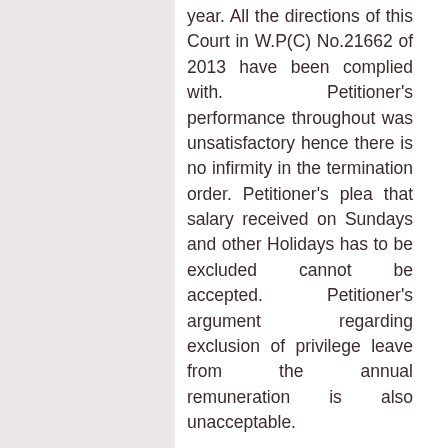year. All the directions of this Court in W.P(C) No.21662 of 2013 have been complied with. Petitioner's performance throughout was unsatisfactory hence there is no infirmity in the termination order. Petitioner's plea that salary received on Sundays and other Holidays has to be excluded cannot be accepted. Petitioner's argument regarding exclusion of privilege leave from the annual remuneration is also unacceptable.